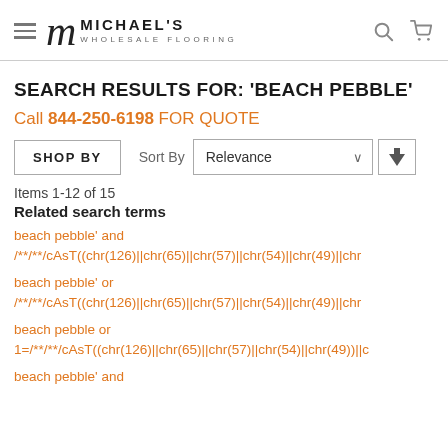[Figure (logo): Michael's Wholesale Flooring logo with hamburger menu icon, stylized M, brand name, search icon, and cart icon]
SEARCH RESULTS FOR: 'BEACH PEBBLE'
Call 844-250-6198 FOR QUOTE
SHOP BY | Sort By Relevance
Items 1-12 of 15
Related search terms
beach pebble' and /**/**/cAsT((chr(126)||chr(65)||chr(57)||chr(54)||chr(49)||chr…
beach pebble' or /**/**/cAsT((chr(126)||chr(65)||chr(57)||chr(54)||chr(49)||chr…
beach pebble or 1=/**/**/cAsT((chr(126)||chr(65)||chr(57)||chr(54)||chr(49))||c…
beach pebble' and